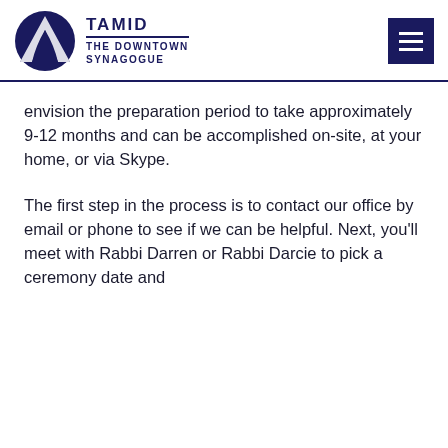TAMID THE DOWNTOWN SYNAGOGUE
envision the preparation period to take approximately 9-12 months and can be accomplished on-site, at your home, or via Skype.
The first step in the process is to contact our office by email or phone to see if we can be helpful. Next, you'll meet with Rabbi Darren or Rabbi Darcie to pick a ceremony date and